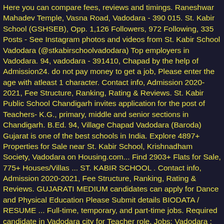Here you can compare fees, reviews and timings. Raneshwar Mahadev Temple, Vasna Road, Vadodara - 390 015. St. Kabir School (GSHSEB), Opp. 1,126 Followers, 972 Following, 335 Posts - See Instagram photos and videos from St. Kabir School Vadodara (@stkabirschoolvadodara) Top employers in Vadodara. 94, vadodara - 391410, Chapad by the help of Admission24. do not pay money to get a job, Please enter the age with atleast 1 character. Contact info, Admission 2020-2021, Fee Structure, Ranking, Rating & Reviews. St. Kabir Public School Chandigarh invites application for the post of Teachers- K.G., primary, middle and senior sections in Chandigarh. B.Ed. 94, Village Chapad Vadodara (Baroda) Gujarat is one of the best schools in India. Explore 4897+ Properties for Sale near St. Kabir School, Krishnadham Society, Vadodara on Housing.com... Find 2903+ Flats for Sale, 775+ Houses/Villas ... ST. KABIR SCHOOL . Contact info, Admission 2020-2021, Fee Structure, Ranking, Rating & Reviews. GUJARATI MEDIUM candidates can apply for Dance and Physical Education Please Submit details BIODATA / RESUME ... Full-time, temporary, and part-time jobs. Required candidate in Vadodara city for Teacher role. Jobs; Vadodara ; St Kabir International School In Vadodra; Showing results 206 for st kabir international school in vadodra Jobs in Vadodara. St. Kabir School Vadodara Yesterday at 8:04 PM Hope this celebration of the bonfire brings you warmth, and the swee ... tness of the festival remains with you forever. A Teacher is the